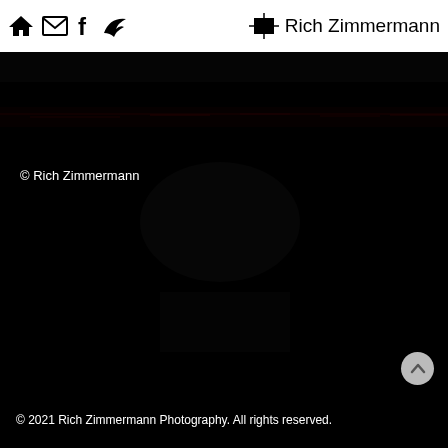🏠 ✉ f ➤ Rich Zimmermann
[Figure (photo): Very dark/black photograph, appears to show a dimly lit scene with faint red horizontal lines or lights across the upper portion]
© Rich Zimmermann
© 2021 Rich Zimmermann Photography. All rights reserved.